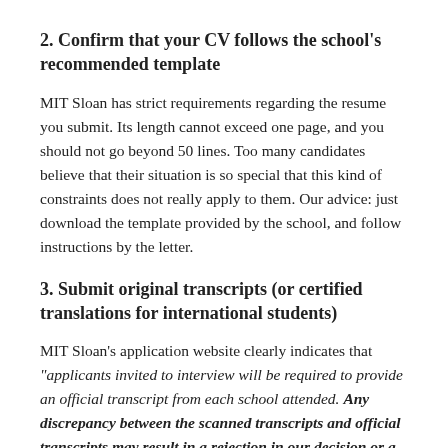2. Confirm that your CV follows the school's recommended template
MIT Sloan has strict requirements regarding the resume you submit. Its length cannot exceed one page, and you should not go beyond 50 lines. Too many candidates believe that their situation is so special that this kind of constraints does not really apply to them. Our advice: just download the template provided by the school, and follow instructions by the letter.
3. Submit original transcripts (or certified translations for international students)
MIT Sloan's application website clearly indicates that "applicants invited to interview will be required to provide an official transcript from each school attended. Any discrepancy between the scanned transcripts and official transcripts may result in a rejection in our decision or a